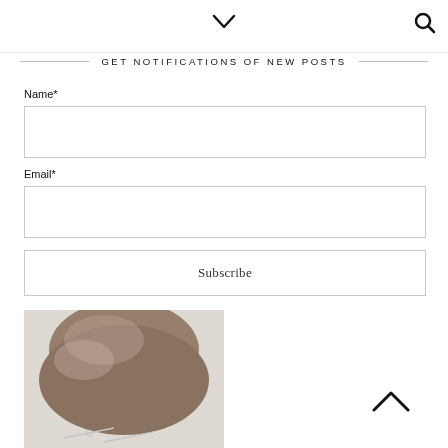[Figure (screenshot): Navigation bar with chevron/dropdown icon on left-center and search icon on right]
GET NOTIFICATIONS OF NEW POSTS
Name*
[Figure (screenshot): Empty text input field for Name]
Email*
[Figure (screenshot): Empty text input field for Email]
[Figure (screenshot): Subscribe button]
[Figure (photo): Photo of the back of a woman's head showing an updo hairstyle with hair accessories/pins, against a light gray background]
[Figure (screenshot): Up/caret arrow icon for scroll to top]